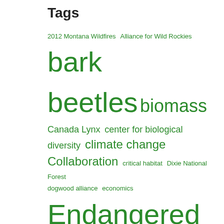Tags
2012 Montana Wildfires  Alliance for Wild Rockies  bark beetles  biomass  Canada Lynx  center for biological diversity  climate change  Collaboration  critical habitat  Dixie National Forest  dogwood alliance  economics  Endangered Species Act  Fire and Fuels  FireWise  Flathead National Forest  Forest Jobs and Recreation Act  Giant Sequoias  Home Ignition Zone  King Fire  Lewis and Clark National Forest  Lodgepole pine  Lolo National Forest  Montana  old growth  Photos  public lands grazing  Restoration  Rim Fire  salvage